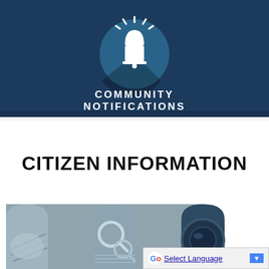[Figure (illustration): Dark navy blue banner with a circular teal/blue icon of a flashing emergency alarm light (bell with light rays), and text 'COMMUNITY NOTIFICATIONS' in white capital letters centered below the icon.]
CITIZEN INFORMATION
[Figure (photo): Three side-by-side arched photos: left shows a close-up of hands (blue-gray tones), center shows magnifying glasses on documents/newspaper, right shows a close-up of a dark blue circular object (lens or coin). All images are in blue/gray tones.]
Select Language